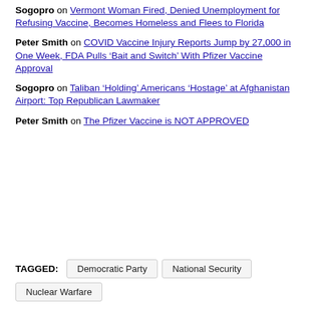Sogopro on Vermont Woman Fired, Denied Unemployment for Refusing Vaccine, Becomes Homeless and Flees to Florida
Peter Smith on COVID Vaccine Injury Reports Jump by 27,000 in One Week, FDA Pulls ‘Bait and Switch’ With Pfizer Vaccine Approval
Sogopro on Taliban ‘Holding’ Americans ‘Hostage’ at Afghanistan Airport: Top Republican Lawmaker
Peter Smith on The Pfizer Vaccine is NOT APPROVED
TAGGED: Democratic Party  National Security  Nuclear Warfare